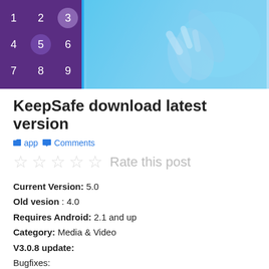[Figure (screenshot): App banner showing a numeric keypad on purple background on the left and a photo of a hand holding a phone on a blue-tinted background on the right]
KeepSafe download latest version
app   Comments
☆ ☆ ☆ ☆ ☆  Rate this post
Current Version: 5.0
Old vesion : 4.0
Requires Android: 2.1 and up
Category: Media & Video
V3.0.8 update:
Bugfixes:
* image rotation
* select all pictures in gallery